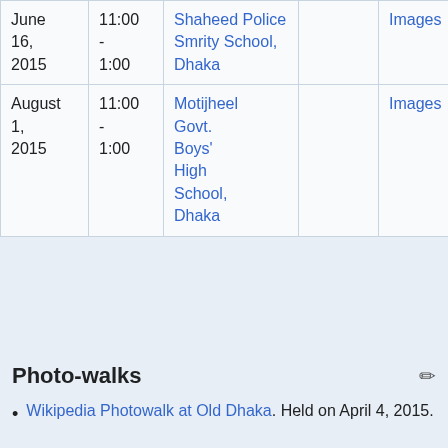| Date | Time | Venue |  | Images |  |
| --- | --- | --- | --- | --- | --- |
| June 16, 2015 | 11:00 - 1:00 | Shaheed Police Smrity School, Dhaka |  | Images | ✓ Do |
| August 1, 2015 | 11:00 - 1:00 | Motijheel Govt. Boys' High School, Dhaka |  | Images | ✓ Do |
Photo-walks
Wikipedia Photowalk at Old Dhaka. Held on April 4, 2015.